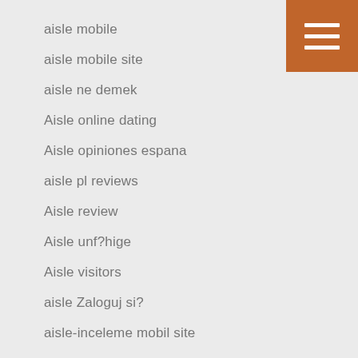aisle mobile
aisle mobile site
aisle ne demek
Aisle online dating
Aisle opiniones espana
aisle pl reviews
Aisle review
Aisle unf?hige
Aisle visitors
aisle Zaloguj si?
aisle-inceleme mobil site
aisle-inceleme visitors
aisle-recenze Mobile